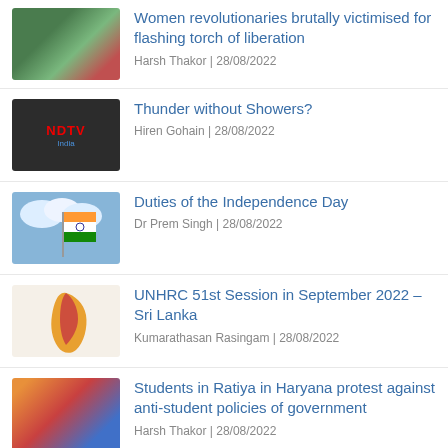Women revolutionaries brutally victimised for flashing torch of liberation
Harsh Thakor | 28/08/2022
Thunder without Showers?
Hiren Gohain | 28/08/2022
Duties of the Independence Day
Dr Prem Singh | 28/08/2022
UNHRC 51st Session in September 2022 – Sri Lanka
Kumarathasan Rasingam | 28/08/2022
Students in Ratiya in Haryana protest against anti-student policies of government
Harsh Thakor | 28/08/2022